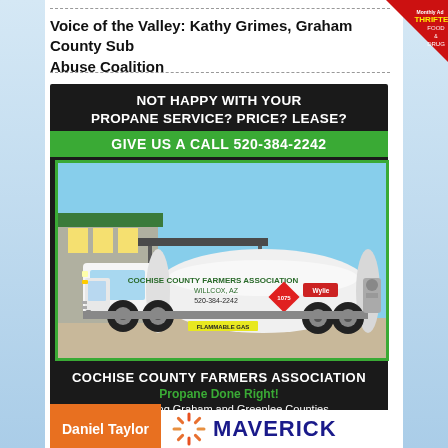Voice of the Valley: Kathy Grimes, Graham County Sub Abuse Coalition
[Figure (infographic): Advertisement for Cochise County Farmers Association propane service. Black background with text: NOT HAPPY WITH YOUR PROPANE SERVICE? PRICE? LEASE? Green bar: GIVE US A CALL 520-384-2242. Photo of a white propane tanker truck with Cochise County Farmers Association branding. Bottom text: COCHISE COUNTY FARMERS ASSOCIATION, Propane Done Right!, Now serving Graham and Greenlee Counties, Click here for more information]
[Figure (infographic): Bottom advertisement strip showing Daniel Taylor name in orange box and MAVERICK logo with sunburst icon]